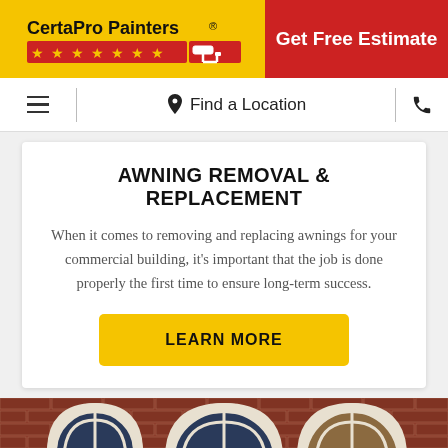[Figure (logo): CertaPro Painters logo on yellow background with red stars and paint roller icon]
Get Free Estimate
≡  Find a Location  ☎
AWNING REMOVAL & REPLACEMENT
When it comes to removing and replacing awnings for your commercial building, it's important that the job is done properly the first time to ensure long-term success.
LEARN MORE
[Figure (photo): Exterior of a brick commercial building with arched windows featuring white trim and dark metal window frames]